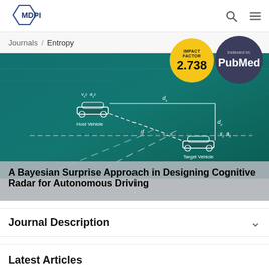MDPI
Journals / Entropy
[Figure (photo): Hero image of autonomous vehicles on a highway with annotated diagram showing Host Vehicle and Target Vehicle with distance and velocity variables (v_s^0, a_s^0, d_x, d_y, d, v_2, a_2).]
[Figure (infographic): Yellow circular badge: IMPACT FACTOR 2.738]
[Figure (infographic): Dark navy circular badge: Indexed in: PubMed]
A Bayesian Surprise Approach in Designing Cognitive Radar for Autonomous Driving
Journal Description
Latest Articles